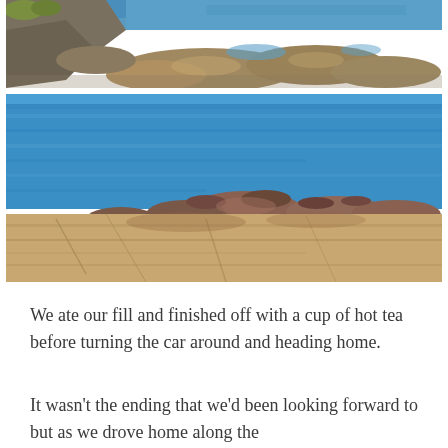[Figure (photo): Coastal rocky shoreline with large boulders and blue sea water, aerial/elevated perspective. Rocks of varying sizes with orange and brown hues line the water's edge.]
[Figure (photo): Rocky coastal landscape with blue ocean water in the background. Flat sandstone slabs and reddish-brown rocks are visible in the foreground, glistening in sunlight.]
We ate our fill and finished off with a cup of hot tea before turning the car around and heading home.
It wasn't the ending that we'd been looking forward to but as we drove home along the